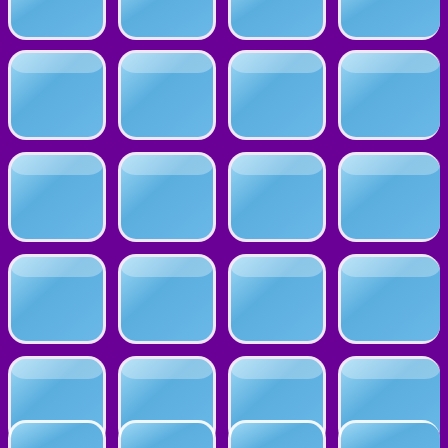[Figure (illustration): A 4-column by 6-row grid of rounded square tiles in light blue color arranged on a dark purple background. The tiles have white borders and a subtle 3D raised appearance with inner highlights. The top row and bottom row of tiles are partially cut off at the page edges.]